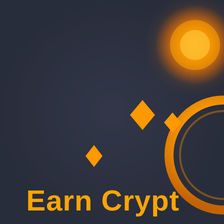[Figure (illustration): Dark slate-blue background with orange glowing orb in upper right, two diamond shapes in center, one smaller diamond on the left, and a partial orange coin/circle on the far right. Text 'Earn Crypto' in large orange/yellow font at the bottom.]
Earn Crypto